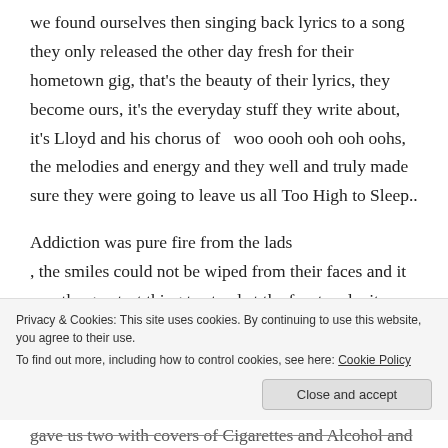we found ourselves then singing back lyrics to a song they only released the other day fresh for their hometown gig, that's the beauty of their lyrics, they become ours, it's the everyday stuff they write about, it's Lloyd and his chorus of  woo oooh ooh ooh oohs, the melodies and energy and they well and truly made sure they were going to leave us all Too High to Sleep..
Addiction was pure fire from the lads , the smiles could not be wiped from their faces and it was the greatest thing to stand at the front and witness
Privacy & Cookies: This site uses cookies. By continuing to use this website, you agree to their use. To find out more, including how to control cookies, see here: Cookie Policy
gave us two with covers of Cigarettes and Alcohol and